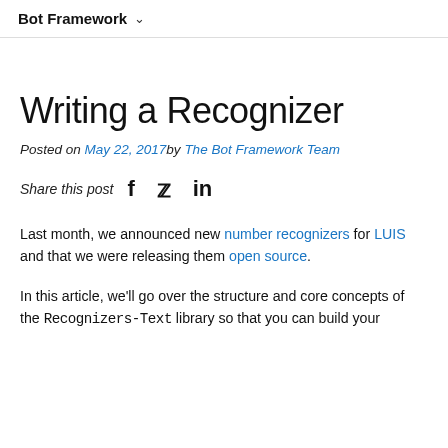Bot Framework ∨
Writing a Recognizer
Posted on May 22, 2017 by The Bot Framework Team
Share this post  f  🐦  in
Last month, we announced new number recognizers for LUIS and that we were releasing them open source.
In this article, we'll go over the structure and core concepts of the Recognizers-Text library so that you can build your